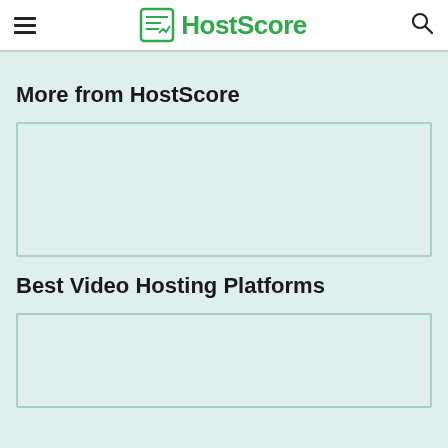HostScore
More from HostScore
[Figure (other): Empty card/image placeholder box]
Best Video Hosting Platforms
[Figure (other): Empty card/image placeholder box]